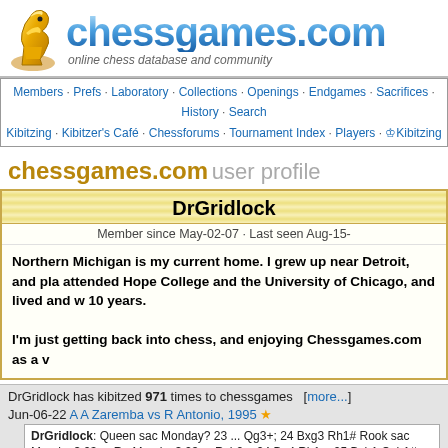[Figure (logo): chessgames.com logo with golden chess knight and blue gradient site title text, tagline: online chess database and community]
Members · Prefs · Laboratory · Collections · Openings · Endgames · Sacrifices · History · Search
Kibitzing · Kibitzer's Café · Chessforums · Tournament Index · Players · Kibitzing
chessgames.com user profile
DrGridlock
Member since May-02-07 · Last seen Aug-15-
Northern Michigan is my current home. I grew up near Detroit, and pla attended Hope College and the University of Chicago, and lived and w 10 years.

I'm just getting back into chess, and enjoying Chessgames.com as a v
DrGridlock has kibitzed 971 times to chessgames  [more...]
Jun-06-22 A A Zaremba vs R Antonio, 1995 ★
DrGridlock: Queen sac Monday? 23 ... Qg3+; 24 Bxg3 Rh1# Rook sac Monday? 23 ... Rg Monday? 23 ... Rxh2+; 24 Be4 Rh1+; 25 Bxh1 Qxh1# Just don't try sacking a minor piece
May-24-22 G Garcia vs B Zuckerman, 1986
DrGridlock: The "tricky" part of the puzzle is that just about any move wins for White so it' game continuation is not his best play, so before deciding on 24 Nxf7 you also have to cal beginning with the check 24 ... ...
Mar-14-22 Ahues vs Rubinstein, 1930 ★
DrGridlock: < There aren't really any alternatives to consider. Now, White threatens Qh8# prevent this is to move the queen along the 7th (else Qg7#).> It's a bit trickier than most M